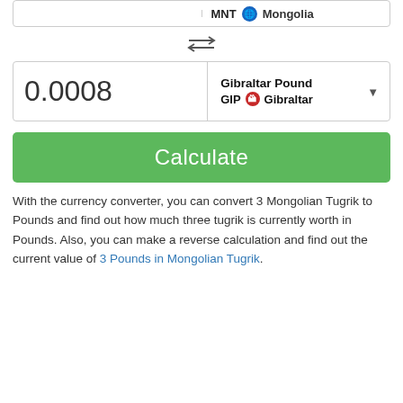[Figure (screenshot): Top portion of currency converter row showing MNT Mongolia flag and label]
[Figure (other): Swap/exchange arrows icon for switching currency direction]
[Figure (screenshot): Currency converter result field showing 0.0008 with Gibraltar Pound (GIP) Gibraltar selector and dropdown]
[Figure (other): Green Calculate button]
With the currency converter, you can convert 3 Mongolian Tugrik to Pounds and find out how much three tugrik is currently worth in Pounds. Also, you can make a reverse calculation and find out the current value of 3 Pounds in Mongolian Tugrik.